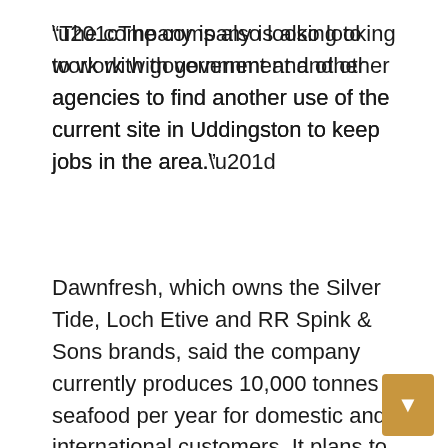“The company is also looking to work with government and other agencies to find another use of the current site in Uddingston to keep jobs in the area.”
Dawnfresh, which owns the Silver Tide, Loch Etive and RR Spink & Sons brands, said the company currently produces 10,000 tonnes of seafood per year for domestic and international customers. It plans to increase production by 30% over the next five years through the investment in Arbroath and expand its product offering, which consists of 350 different lines.
The company supplies smoked, chilled and frozen seafood, as well as pickled products. It also